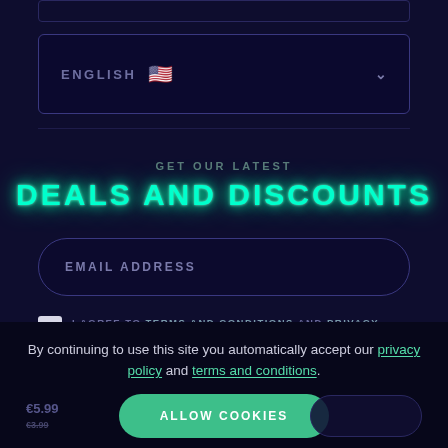[Figure (screenshot): Language selector dropdown showing ENGLISH with US flag icon and chevron arrow]
GET OUR LATEST
DEALS AND DISCOUNTS
[Figure (screenshot): Email address input field with rounded border]
I AGREE TO TERMS AND CONDITIONS AND PRIVACY POLICY
[Figure (screenshot): SIGN UP button with teal border]
By continuing to use this site you automatically accept our privacy policy and terms and conditions.
[Figure (screenshot): ALLOW COOKIES green button]
€5.99